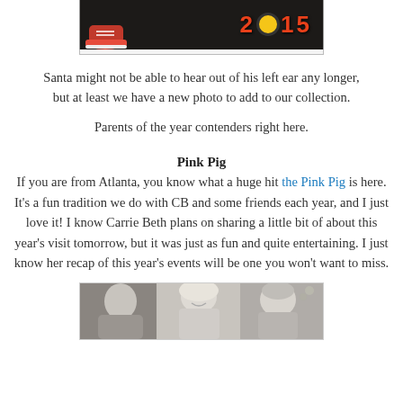[Figure (photo): Bottom portion of a photo showing feet/shoes and a '2015' graphic in red/orange text on dark background]
Santa might not be able to hear out of his left ear any longer, but at least we have a new photo to add to our collection.
Parents of the year contenders right here.
Pink Pig
If you are from Atlanta, you know what a huge hit the Pink Pig is here. It's a fun tradition we do with CB and some friends each year, and I just love it! I know Carrie Beth plans on sharing a little bit of about this year's visit tomorrow, but it was just as fun and quite entertaining. I just know her recap of this year's events will be one you won't want to miss.
[Figure (photo): Black and white photo showing two women smiling, with Christmas decorations in background]